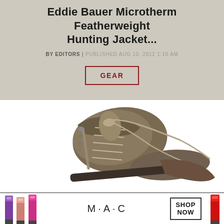Eddie Bauer Microtherm Featherweight Hunting Jacket...
BY EDITORS | PUBLISHED AUG 10, 2012 1:18 AM
GEAR
[Figure (photo): Close-up photo of a brown/tan hiking or hunting boot with laces, partially cropped, on a white background]
[Figure (photo): Advertisement banner for MAC cosmetics showing colorful lipsticks (purple, peach, pink, red) with MAC logo and SHOP NOW button]